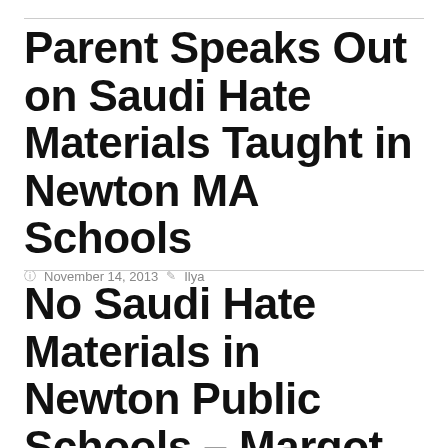Parent Speaks Out on Saudi Hate Materials Taught in Newton MA Schools
November 14, 2013   Ilya
No Saudi Hate Materials in Newton Public Schools – Margot